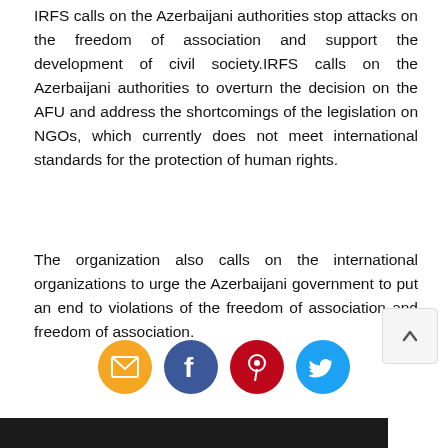IRFS calls on the Azerbaijani authorities stop attacks on the freedom of association and support the development of civil society.IRFS calls on the Azerbaijani authorities to overturn the decision on the AFU and address the shortcomings of the legislation on NGOs, which currently does not meet international standards for the protection of human rights.
The organization also calls on the international organizations to urge the Azerbaijani government to put an end to violations of the freedom of association and freedom of association.
[Figure (other): Row of four social sharing icons: email (orange), Facebook (dark blue), Pinterest (dark red), Twitter (light blue)]